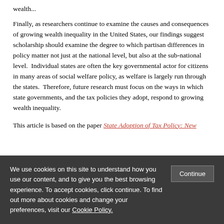wealth...
Finally, as researchers continue to examine the causes and consequences of growing wealth inequality in the United States, our findings suggest scholarship should examine the degree to which partisan differences in policy matter not just at the national level, but also at the sub-national level.  Individual states are often the key governmental actor for citizens in many areas of social welfare policy, as welfare is largely run through the states.  Therefore, future research must focus on the ways in which state governments, and the tax policies they adopt, respond to growing wealth inequality.
This article is based on the paper 'State Adoption of Tax Policy: New...
We use cookies on this site to understand how you use our content, and to give you the best browsing experience. To accept cookies, click continue. To find out more about cookies and change your preferences, visit our Cookie Policy.